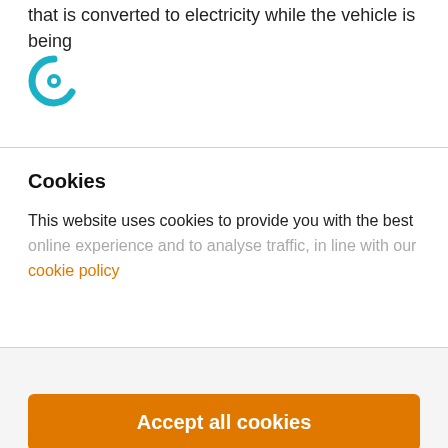that is converted to electricity while the vehicle is being
[Figure (logo): Cookiebot logo - circular C icon in teal/cyan color]
Cookies
This website uses cookies to provide you with the best online experience and to analyse traffic, in line with our cookie policy
Show details >
Accept all cookies
Customise >
Powered by Cookiebot by Usercentrics